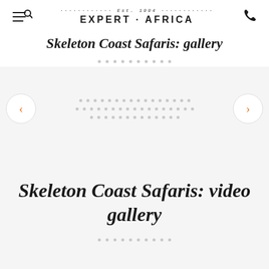Est. 1994 EXPERT·AFRICA
Skeleton Coast Safaris: gallery
[Figure (screenshot): Image carousel navigation area with left and right arrow buttons (orange chevrons in white circles), and dotted placeholder rows representing a photo gallery slideshow. No images loaded.]
Skeleton Coast Safaris: video gallery